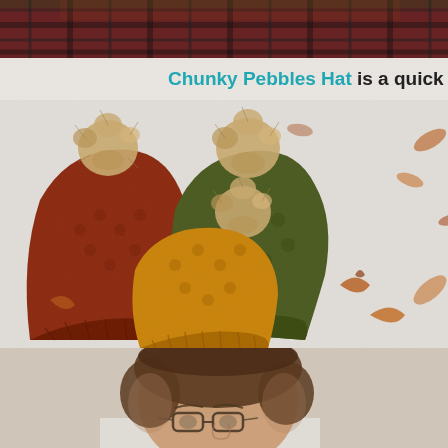[Figure (photo): Partial top image showing person in plaid red and black jacket, cropped at top of page]
Chunky Pebbles Hat is a quick crochet
[Figure (photo): Three crocheted hats with faux fur pom-poms in rust red, olive green, and mustard yellow colors, laid on a white surface with autumn leaves]
[Figure (photo): Person with short brown hair and glasses, partial portrait cropped at bottom of page]